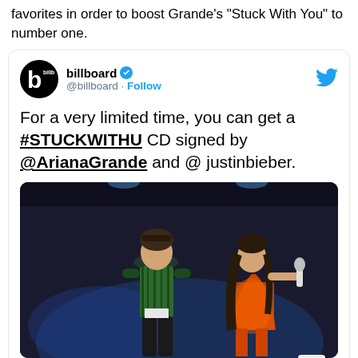favorites in order to boost Grande's 'Stuck With You' to number one.
[Figure (screenshot): Embedded tweet from @billboard with verified checkmark. Tweet text reads: 'For a very limited time, you can get a #STUCKWITHU CD signed by @ArianaGrande and @ justinbieber.' Below the text is a photo of two performers on stage — a male in a green outfit on the left and a female in an orange sparkly dress holding a microphone on the right. Footer shows 'billboard.com' and partial text 'Get a Signed iStuck with Ul CD From Ariana Grande'.]